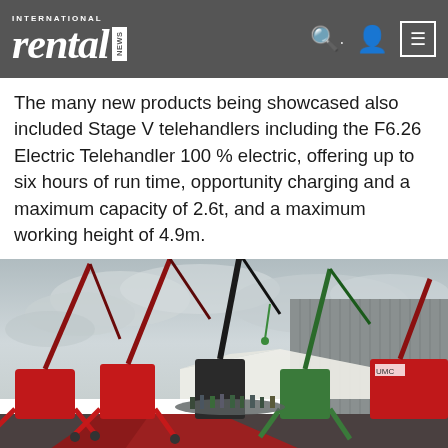International Rental News
The many new products being showcased also included Stage V telehandlers including the F6.26 Electric Telehandler 100 % electric, offering up to six hours of run time, opportunity charging and a maximum capacity of 2.6t, and a maximum working height of 4.9m.
[Figure (photo): Outdoor display of multiple red and green spider cranes and telehandlers at what appears to be an equipment exhibition or product launch event. Multiple boom cranes are raised against an overcast sky, with a large grey industrial building in the background. A red carpet and crowd of visitors are visible.]